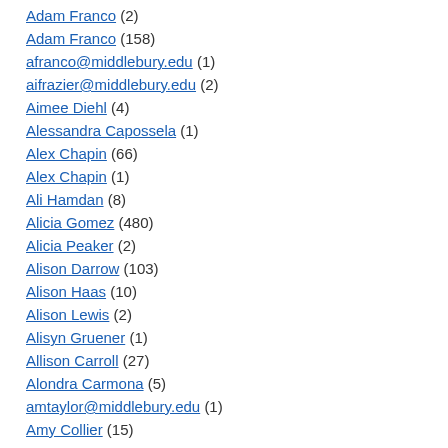Adam Franco (2)
Adam Franco (158)
afranco@middlebury.edu (1)
aifrazier@middlebury.edu (2)
Aimee Diehl (4)
Alessandra Capossela (1)
Alex Chapin (66)
Alex Chapin (1)
Ali Hamdan (8)
Alicia Gomez (480)
Alicia Peaker (2)
Alison Darrow (103)
Alison Haas (10)
Alison Lewis (2)
Alisyn Gruener (1)
Allison Carroll (27)
Alondra Carmona (5)
amtaylor@middlebury.edu (1)
Amy Collier (15)